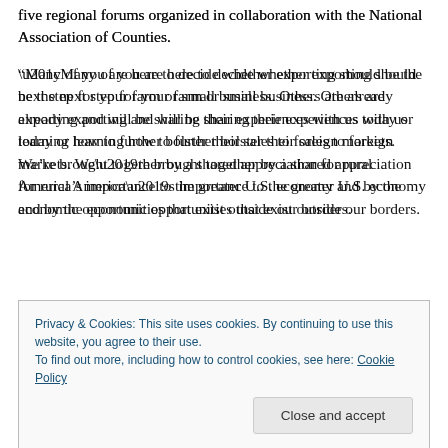five regional forums organized in collaboration with the National Association of Counties.
“Many of you are here to decide whether exporting should be the next step for your farm or small business. Others are already exporting and will be sharing their experiences with us today or learning how to further bolster their sales to foreign markets. We’re brought together by a shared appreciation for rural America’s importance to the greater U.S. economy and by the economic opportunities that exist outside our borders.
Privacy & Cookies: This site uses cookies. By continuing to use this website, you agree to their use. To find out more, including how to control cookies, see here: Cookie Policy
Close and accept